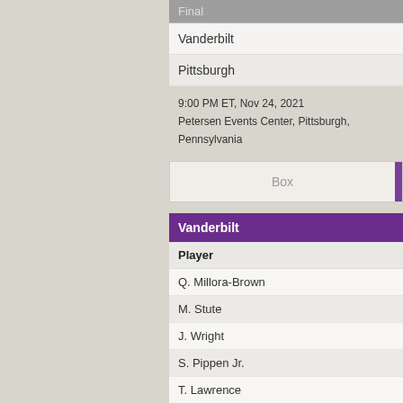| Final |
| --- |
| Vanderbilt |
| Pittsburgh |
9:00 PM ET, Nov 24, 2021
Petersen Events Center, Pittsburgh, Pennsylvania
| Box |
| --- |
| Vanderbilt |
| --- |
| Player |
| Q. Millora-Brown |
| M. Stute |
| J. Wright |
| S. Pippen Jr. |
| T. Lawrence |
| J. Mann |
| T. Frank |
| T. Thomas |
| S. Dezonie |
| G. Dorsey |
| Totals |